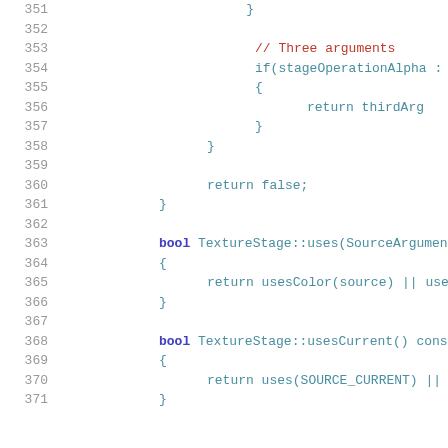Code listing lines 351-371 showing C++ source code for TextureStage methods